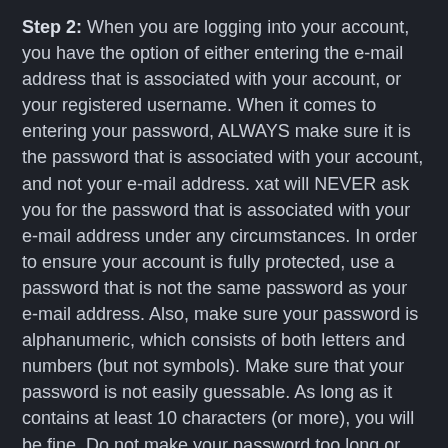Step 2: When you are logging into your account, you have the option of either entering the e-mail address that is associated with your account, or your registered username. When it comes to entering your password, ALWAYS make sure it is the password that is associated with your account, and not your e-mail address. xat will NEVER ask you for the password that is associated with your e-mail address under any circumstances. In order to ensure your account is fully protected, use a password that is not the same password as your e-mail address. Also, make sure your password is alphanumeric, which consists of both letters and numbers (but not symbols). Make sure that your password is not easily guessable. As long as it contains at least 10 characters (or more), you will be fine. Do not make your password too long or you might forget it. We highly recommend you avoid using patterns or words in your password, and to always change your password on a monthly basis. It's better to be safe than sorry.
Step 3: When it comes to fully protecting your account, we highly recommend you enable xat's account security feature...